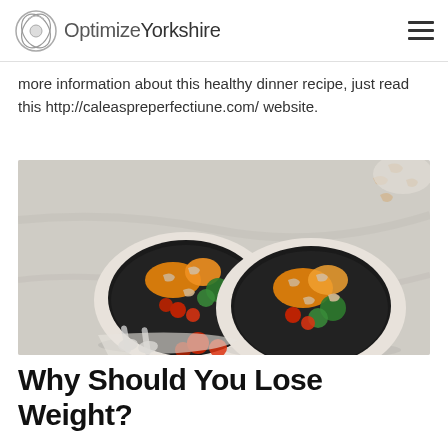OptimizeYorkshire
more information about this healthy dinner recipe, just read this http://caleaspreperfectiune.com/ website.
[Figure (photo): Two white ceramic bowls filled with black rice topped with roasted vegetables including butternut squash, broccoli, cherry tomatoes, and cashew nuts, placed on a marble surface with a linen cloth and spoons, with scattered cashews and cherry tomatoes nearby.]
Why Should You Lose Weight?